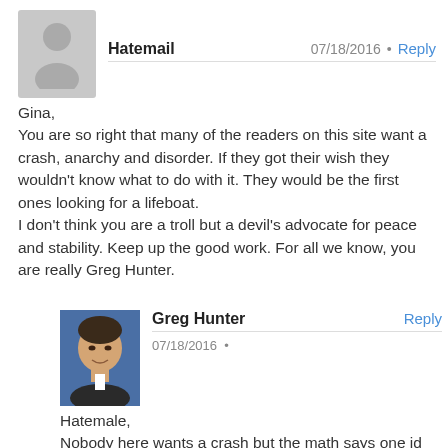[Figure (illustration): Gray placeholder avatar silhouette for user 'Hatemail']
Hatemail   07/18/2016 • Reply
Gina,
You are so right that many of the readers on this site want a crash, anarchy and disorder. If they got their wish they wouldn't know what to do with it. They would be the first ones looking for a lifeboat.
I don't think you are a troll but a devil's advocate for peace and stability. Keep up the good work. For all we know, you are really Greg Hunter.
[Figure (photo): Photo of Greg Hunter, a man in a suit smiling]
Greg Hunter   Reply   07/18/2016 •
Hatemale,
Nobody here wants a crash but the math says one id coming, and it's a very big one. Gina is no